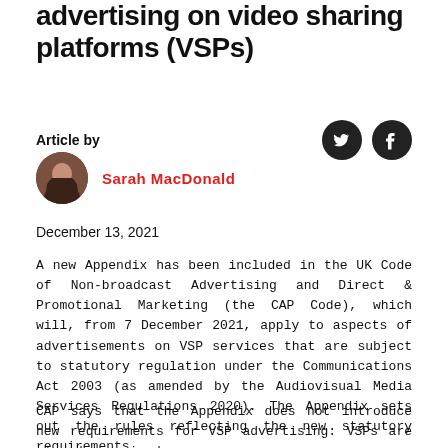advertising on video sharing platforms (VSPs)
Article by
Sarah MacDonald
December 13, 2021
A new Appendix has been included in the UK Code of Non-broadcast Advertising and Direct & Promotional Marketing (the CAP Code), which will, from 7 December 2021, apply to aspects of advertisements on VSP services that are subject to statutory regulation under the Communications Act 2003 (as amended by the Audiovisual Media Services Regulations 2020). The Appendix sets out the rules reflecting the new statutory requirements.
CAP says that the Appendix does not introduce new requirements for VSP advertising: VSPs are already required, under the...